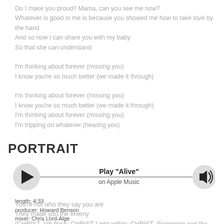Do I make you proud? Mama, can you see me now?
Whatever is good in me is because you showed me how to take love by the hand
And so now I can share you with my baby
So that she can understand

I'm thinking about forever (missing you)
I know you're so much better (we made it through)

I'm thinking about forever (missing you)
I know you're so much better (we made it through)
I'm thinking about forever (missing you)
I'm tripping on whatever (hearing you)
PORTRAIT
[Figure (other): Music player UI with play button, line, speaker/volume button, and text 'Play "Alive"' on Apple Music]
length: 4:33
producer: Howard Benson
mixer: Chris Lord-Alge
engineer: Randy Staub
co-producer: P.O.D.
writer: Marcos Curiel, Noah "Wuv" Bernardo, Sonny Sandoval, Traa Daniels
You're not who they say you are
They made you the enemy
(CHRIST-Jah flesh; CHRIST-Light within; CHRIST- Beginning and the end)
Take on something beautiful...